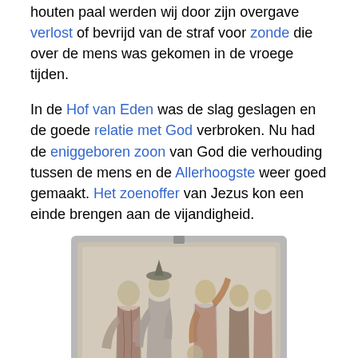houten paal werden wij door zijn overgave verlost of bevrijd van de straf voor zonde die over de mens was gekomen in de vroege tijden.
In de Hof van Eden was de slag geslagen en de goede relatie met God verbroken. Nu had de eniggeboren zoon van God die verhouding tussen de mens en de Allerhoogste weer goed gemaakt. Het zoenoffer van Jezus kon een einde brengen aan de vijandigheid.
[Figure (photo): Stone relief sculpture showing multiple figures in medieval or Renaissance style, with robed people grouped together, some with raised hands, set in a carved stone panel.]